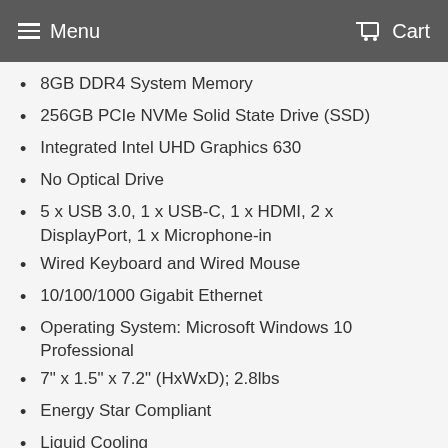Menu  Cart
8GB DDR4 System Memory
256GB PCIe NVMe Solid State Drive (SSD)
Integrated Intel UHD Graphics 630
No Optical Drive
5 x USB 3.0, 1 x USB-C, 1 x HDMI, 2 x DisplayPort, 1 x Microphone-in
Wired Keyboard and Wired Mouse
10/100/1000 Gigabit Ethernet
Operating System: Microsoft Windows 10 Professional
7" x 1.5" x 7.2" (HxWxD); 2.8lbs
Energy Star Compliant
Liquid Cooling
Whats in the Box?